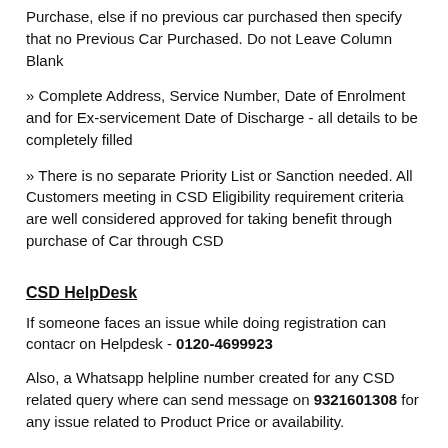Purchase, else if no previous car purchased then specify that no Previous Car Purchased. Do not Leave Column Blank
» Complete Address, Service Number, Date of Enrolment and for Ex-servicement Date of Discharge - all details to be completely filled
» There is no separate Priority List or Sanction needed. All Customers meeting in CSD Eligibility requirement criteria are well considered approved for taking benefit through purchase of Car through CSD
CSD HelpDesk
If someone faces an issue while doing registration can contacr on Helpdesk - 0120-4699923
Also, a Whatsapp helpline number created for any CSD related query where can send message on 9321601308 for any issue related to Product Price or availability.